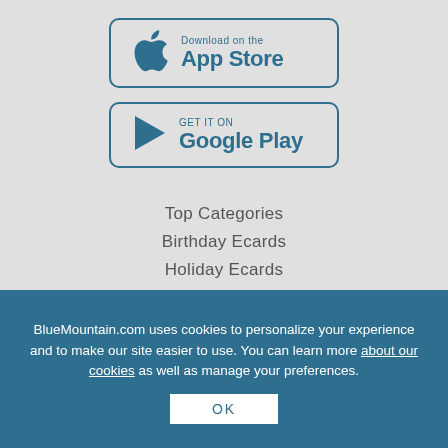[Figure (logo): Download on the App Store button with Apple logo]
[Figure (logo): Get it on Google Play button with Play Store triangle logo]
Top Categories
Birthday Ecards
Holiday Ecards
BlueMountain.com uses cookies to personalize your experience and to make our site easier to use. You can learn more about our cookies as well as manage your preferences.
OK